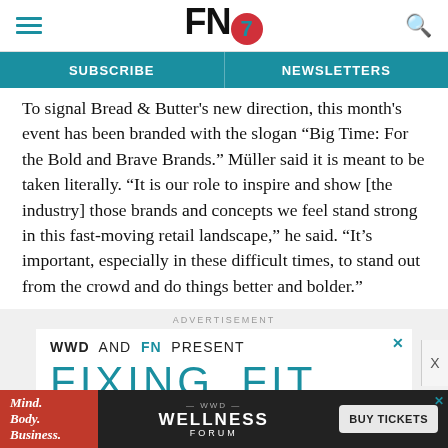FN7
SUBSCRIBE   NEWSLETTERS
To signal Bread & Butter's new direction, this month's event has been branded with the slogan “Big Time: For the Bold and Brave Brands.” Müller said it is meant to be taken literally. “It is our role to inspire and show [the industry] those brands and concepts we feel stand strong in this fast-moving retail landscape,” he said. “It’s important, especially in these difficult times, to stand out from the crowd and do things better and bolder.”
[Figure (advertisement): WWD AND FN PRESENT FIXING_FIT advertisement banner]
[Figure (advertisement): WWD Wellness Forum - Mind. Body. Business. BUY TICKETS bottom banner ad]